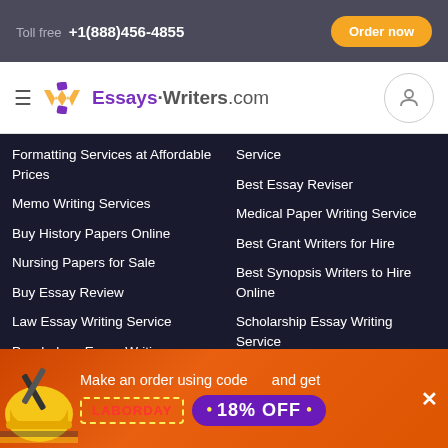Toll free +1(888)456-4855  Order now
[Figure (logo): Essays-Writers.com logo with hamburger menu and user icon]
Formatting Services at Affordable Prices
Service
Best Essay Reviser
Memo Writing Services
Medical Paper Writing Service
Buy History Papers Online
Best Grant Writers for Hire
Nursing Papers for Sale
Best Synopsis Writers to Hire Online
Buy Essay Review
Law Essay Writing Service
Scholarship Essay Writing Service
Psychology Essay Writing Service
Legal Brief Writing Service
Write My Research Paper
Custom Article Critique Writing
Make an order using code and get LABORDAY • 18% OFF •